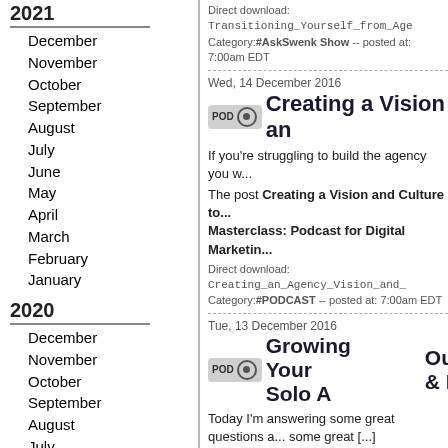2021
December
November
October
September
August
July
June
May
April
March
February
January
2020
December
November
October
September
August
July
June
May
April
March
February
January
2019
December
November
October
Direct download: Transitioning_Yourself_from_Age
Category:#AskSwenk Show -- posted at: 7:00am EDT
Wed, 14 December 2016
Creating a Vision an...
If you're struggling to build the agency you w...
The post Creating a Vision and Culture to... Masterclass: Podcast for Digital Marketin...
Direct download: Creating_an_Agency_Vision_and_
Category:#PODCAST -- posted at: 7:00am EDT
Tue, 13 December 2016
Growing Your Solo ... Outsourcing & More...
Today I'm answering some great questions a... some great [...]
The post Growing Your Solo Agency: Part... appeared first on Smart Agency Mastercla...
Direct download: Growing_Your_Solo_Agency__Pag...
Category:#AskSwenk Show -- posted at: 7:00am EDT
Tue, 6 December 2016
How One Agency D...
If you're trying to grow a agency, you know y...
The post How One Agency Doubled Their...